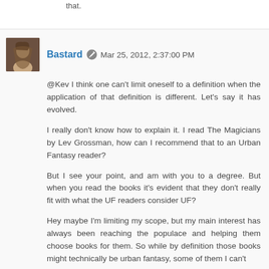that.
Bastard  Mar 25, 2012, 2:37:00 PM
@Kev I think one can't limit oneself to a definition when the application of that definition is different. Let's say it has evolved.
I really don't know how to explain it. I read The Magicians by Lev Grossman, how can I recommend that to an Urban Fantasy reader?
But I see your point, and am with you to a degree. But when you read the books it's evident that they don't really fit with what the UF readers consider UF?
Hey maybe I'm limiting my scope, but my main interest has always been reaching the populace and helping them choose books for them. So while by definition those books might technically be urban fantasy, some of them I can't